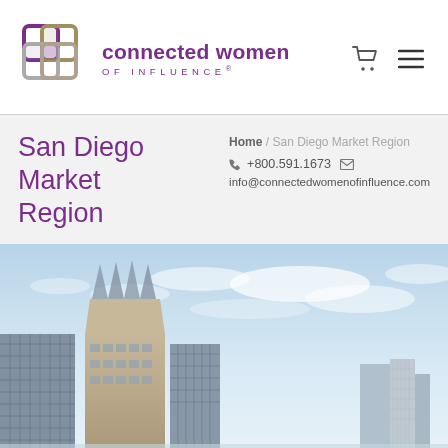[Figure (logo): Connected Women of Influence logo with interlocking square shapes in purple and tan/gray, and text 'connected women OF INFLUENCE®']
San Diego Market Region
Home / San Diego Market Region
+800.591.1673   info@connectedwomenofinfluence.com
[Figure (photo): San Diego skyline with city buildings against a blue sky with light clouds]